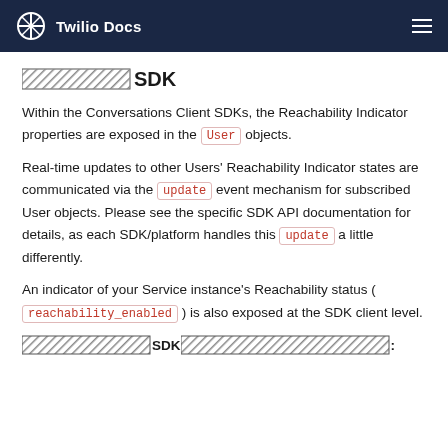Twilio Docs
[REDACTED] SDK
Within the Conversations Client SDKs, the Reachability Indicator properties are exposed in the User objects.
Real-time updates to other Users' Reachability Indicator states are communicated via the update event mechanism for subscribed User objects. Please see the specific SDK API documentation for details, as each SDK/platform handles this update a little differently.
An indicator of your Service instance's Reachability status ( reachability_enabled ) is also exposed at the SDK client level.
[REDACTED] SDK [REDACTED]: